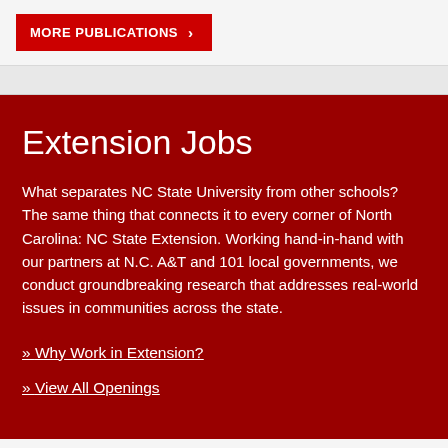MORE PUBLICATIONS >
Extension Jobs
What separates NC State University from other schools? The same thing that connects it to every corner of North Carolina: NC State Extension. Working hand-in-hand with our partners at N.C. A&T and 101 local governments, we conduct groundbreaking research that addresses real-world issues in communities across the state.
» Why Work in Extension?
» View All Openings